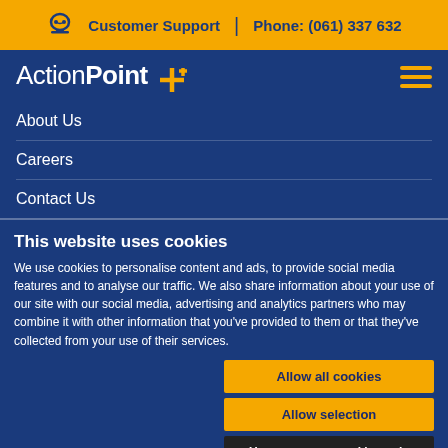Customer Support | Phone: (061) 337 632
[Figure (logo): ActionPoint logo with yellow cross/plus icon and hamburger menu]
About Us
Careers
Contact Us
This website uses cookies
We use cookies to personalise content and ads, to provide social media features and to analyse our traffic. We also share information about your use of our site with our social media, advertising and analytics partners who may combine it with other information that you've provided to them or that they've collected from your use of their services.
Allow all cookies
Allow selection
Use necessary cookies only
Necessary  Preferences  Statistics  Marketing  Show details